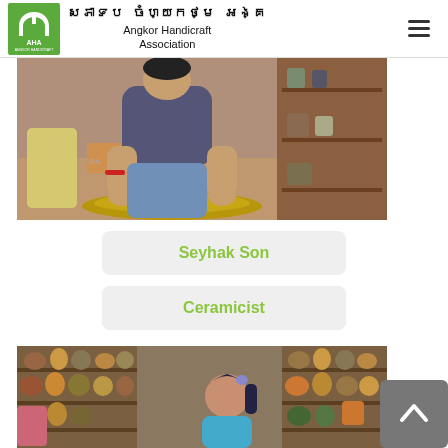Angkor Handicraft Association
[Figure (photo): A young man working at a pottery wheel in a workshop, shaping clay with his hands. Shelves with ceramic items visible in the background.]
Seyhak Son
Ceramicist
[Figure (photo): A woman working in a ceramics workshop surrounded by shelves filled with pottery pieces including pots and vases.]